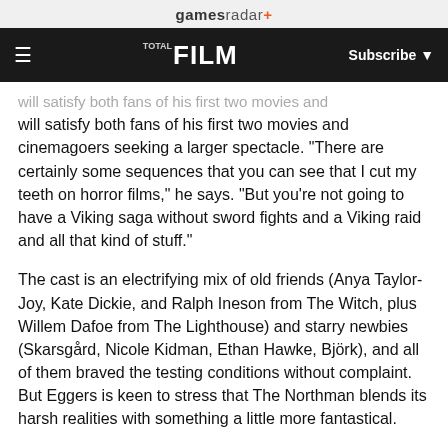gamesradar+
≡  TOTAL FILM  Subscribe ▼
will satisfy both fans of his first two movies and cinemagoers seeking a larger spectacle. "There are certainly some sequences that you can see that I cut my teeth on horror films," he says. “But you’re not going to have a Viking saga without sword fights and a Viking raid and all that kind of stuff."
The cast is an electrifying mix of old friends (Anya Taylor-Joy, Kate Dickie, and Ralph Ineson from The Witch, plus Willem Dafoe from The Lighthouse) and starry newbies (Skarsgård, Nicole Kidman, Ethan Hawke, Björk), and all of them braved the testing conditions without complaint. But Eggers is keen to stress that The Northman blends its harsh realities with something a little more fantastical.
"As I’ve done in my past films, I’m trying to articulate the